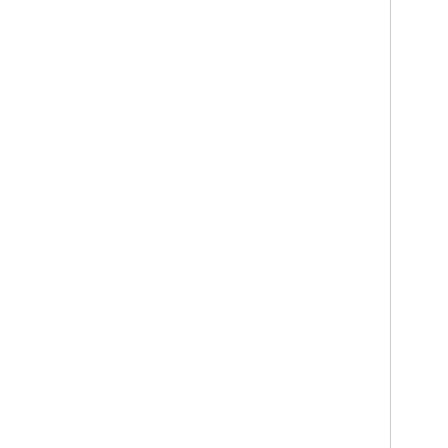authentication, mes spoofing, multicopy program mail, struc
At the end of this sess was putting patches on commitment to a versio says "this is it", and
4.  Debbie Deutsch talked multimedia mail.
Debbie discussed the a data (voice, graphics, for structuring message types of data.  The ma data in ASCII and usin binary typed structured integrate fax data han Copies of the viewgrap